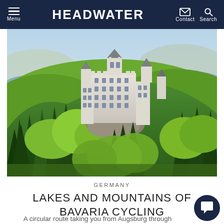Menu | HEADWATER | Contact Search
[Figure (photo): Aerial view of Neuschwanstein Castle perched on a forested hillside with lakes and mountains in the background, Bavaria, Germany]
GERMANY
LAKES AND MOUNTAINS OF BAVARIA CYCLING
A circular route taking you from Augsburg through villages and lakes, to the foothills of Bavarian Alps and the fairytale castles of